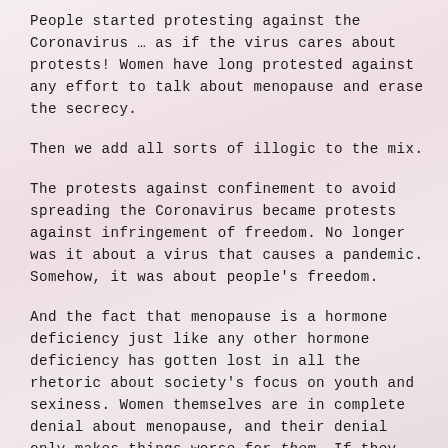People started protesting against the Coronavirus … as if the virus cares about protests! Women have long protested against any effort to talk about menopause and erase the secrecy.
Then we add all sorts of illogic to the mix.
The protests against confinement to avoid spreading the Coronavirus became protests against infringement of freedom. No longer was it about a virus that causes a pandemic. Somehow, it was about people's freedom.
And the fact that menopause is a hormone deficiency just like any other hormone deficiency has gotten lost in all the rhetoric about society's focus on youth and sexiness. Women themselves are in complete denial about menopause, and their denial only makes things worse for them. If they welcomed more openness about menopause, it would be to their benefit. But, instead, they suffer in